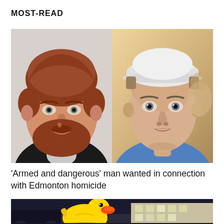MOST-READ
[Figure (photo): Two side-by-side photos: left shows a man with red/auburn hair and beard wearing a black jacket; right shows a younger man wearing a white baseball cap in a selfie-style photo.]
'Armed and dangerous' man wanted in connection with Edmonton homicide
[Figure (photo): Partial view of a night scene showing a large yellow rubber duck figure illuminated, with a building in the background.]